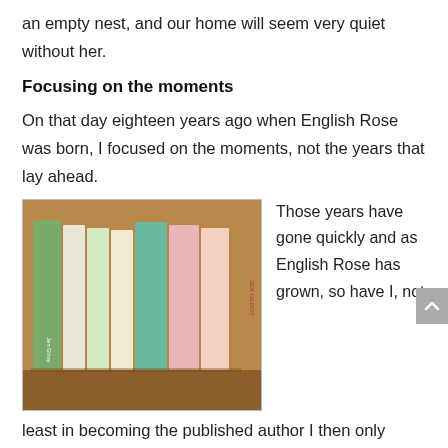an empty nest, and our home will seem very quiet without her.
Focusing on the moments
On that day eighteen years ago when English Rose was born, I focused on the moments, not the years that lay ahead.
[Figure (photo): A row of books by Jen Gilroy standing upright on a wooden surface, spines visible, including titles such as 'A Wish in Irish Falls' and multiple JEN GILROY branded books.]
Those years have gone quickly and as English Rose has grown, so have I, not least in becoming the published author I then only dreamed of.